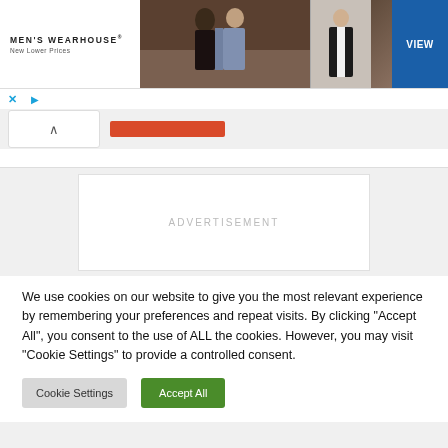[Figure (screenshot): Men's Wearhouse advertisement banner showing a couple in formalwear and a single man in a tuxedo, with a blue VIEW button]
X ▷
[Figure (screenshot): Navigation area with collapse/chevron button and red bar element]
[Figure (screenshot): Advertisement placeholder block with ADVERTISEMENT text]
We use cookies on our website to give you the most relevant experience by remembering your preferences and repeat visits. By clicking "Accept All", you consent to the use of ALL the cookies. However, you may visit "Cookie Settings" to provide a controlled consent.
Cookie Settings
Accept All